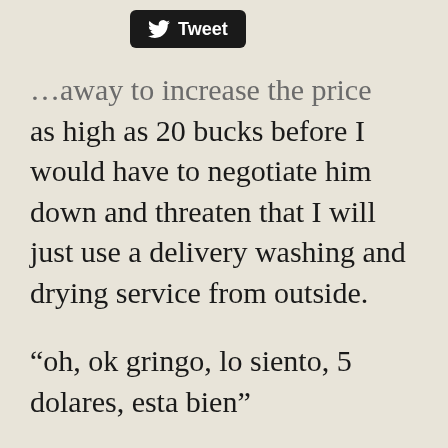[Figure (screenshot): Twitter Tweet button with bird logo, black rounded rectangle]
…away to increase the price as high as 20 bucks before I would have to negotiate him down and threaten that I will just use a delivery washing and drying service from outside.
“oh, ok gringo, lo siento, 5 dolares, esta bien”
Or whatever the Price was but i think it was around 5 bucks